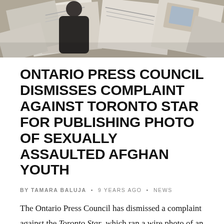[Figure (photo): Banner photo showing newspapers and magazine pages spread out, with a person in a dark jacket visible among them.]
ONTARIO PRESS COUNCIL DISMISSES COMPLAINT AGAINST TORONTO STAR FOR PUBLISHING PHOTO OF SEXUALLY ASSAULTED AFGHAN YOUTH
BY TAMARA BALUJA • 9 YEARS AGO • NEWS
The Ontario Press Council has dismissed a complaint against the Toronto Star, which ran a wire photo of an identifiable Afghan youth who had been sexually abused. A complaint had been launched that the Star would not have published a picture of a Canadian youth